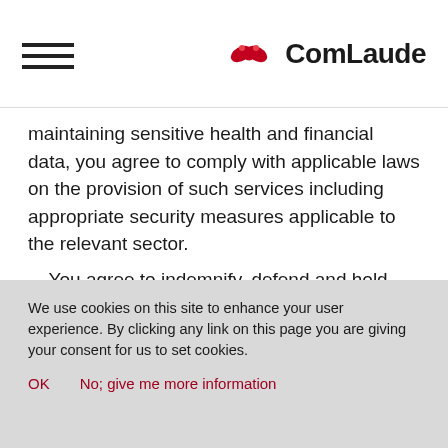ComLaude
maintaining sensitive health and financial data, you agree to comply with applicable laws on the provision of such services including appropriate security measures applicable to the relevant sector.
You agree to indemnify, defend and hold harmless the registry operator, CentralNic and their subcontractors, and the directors, officers, employees, affiliates and agents of each of them,
We use cookies on this site to enhance your user experience. By clicking any link on this page you are giving your consent for us to set cookies.
OK   No; give me more information